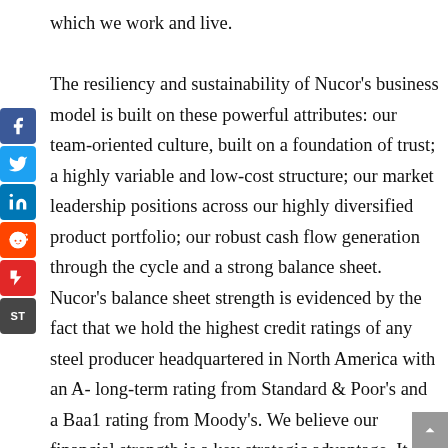which we work and live.

The resiliency and sustainability of Nucor's business model is built on these powerful attributes: our team-oriented culture, built on a foundation of trust; a highly variable and low-cost structure; our market leadership positions across our highly diversified product portfolio; our robust cash flow generation through the cycle and a strong balance sheet. Nucor's balance sheet strength is evidenced by the fact that we hold the highest credit ratings of any steel producer headquartered in North America with an A- long-term rating from Standard & Poor's and a Baa1 rating from Moody's. We believe our financial strength is a key strategic advantage. It has been a critical underpinning of Nucor's ability to consistently grow long-term earnings power and